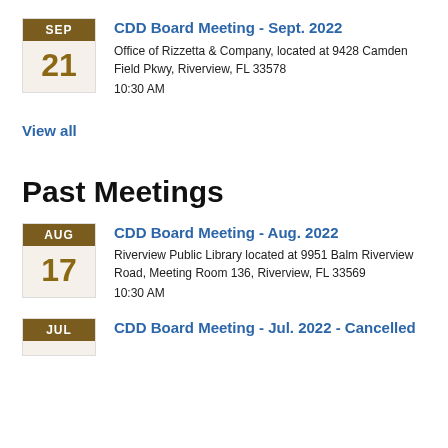CDD Board Meeting - Sept. 2022
Office of Rizzetta & Company, located at 9428 Camden Field Pkwy, Riverview, FL 33578
10:30 AM
View all
Past Meetings
CDD Board Meeting - Aug. 2022
Riverview Public Library located at 9951 Balm Riverview Road, Meeting Room 136, Riverview, FL 33569
10:30 AM
CDD Board Meeting - Jul. 2022 - Cancelled